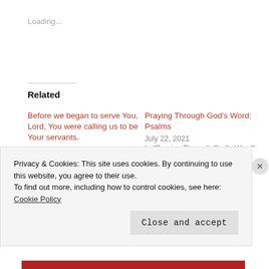Loading...
Related
Before we began to serve You, Lord, You were calling us to be Your servants.
August 18, 2022
In "Numbers"
Praying Through God’s Word: Psalms
July 22, 2021
In "Praying Through God’s Word"
Praying Through God’s Word: Acts
June 20, 2021
Privacy & Cookies: This site uses cookies. By continuing to use this website, you agree to their use.
To find out more, including how to control cookies, see here: Cookie Policy
Close and accept